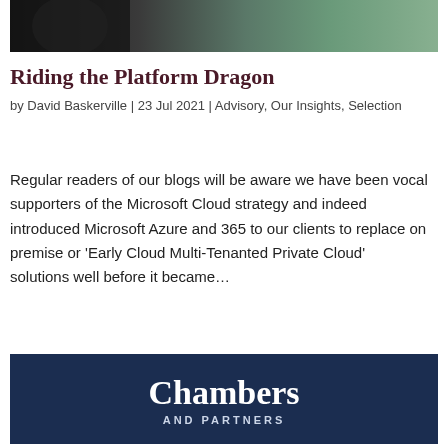[Figure (photo): Partial photo at top of page showing dark and green outdoor scene with figures]
Riding the Platform Dragon
by David Baskerville | 23 Jul 2021 | Advisory, Our Insights, Selection
Regular readers of our blogs will be aware we have been vocal supporters of the Microsoft Cloud strategy and indeed introduced Microsoft Azure and 365 to our clients to replace on premise or 'Early Cloud Multi-Tenanted Private Cloud' solutions well before it became…
[Figure (logo): Chambers and Partners logo — white text on dark navy background]